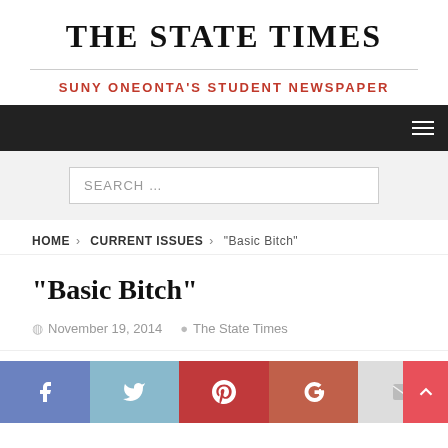THE STATE TIMES
SUNY ONEONTA'S STUDENT NEWSPAPER
HOME > CURRENT ISSUES > “Basic Bitch”
“Basic Bitch”
November 19, 2014   The State Times